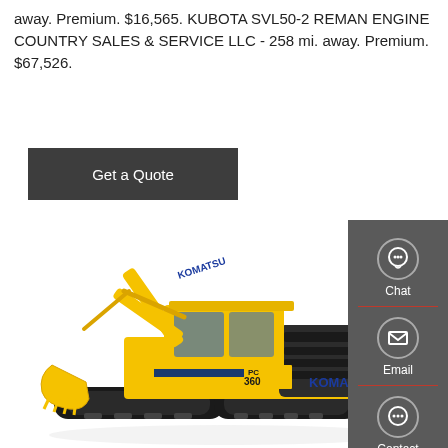away. Premium. $16,565. KUBOTA SVL50-2 REMAN ENGINE COUNTRY SALES & SERVICE LLC - 258 mi. away. Premium. $67,526.
[Figure (other): Get a Quote button - dark grey rectangular button with white text]
[Figure (photo): Komatsu PC360 yellow excavator with boom arm extended, black tracks, on white background]
[Figure (other): Right sidebar with Chat (headset icon), Email (envelope icon), and Contact (speech bubble icon) options on dark grey background with red dividers]